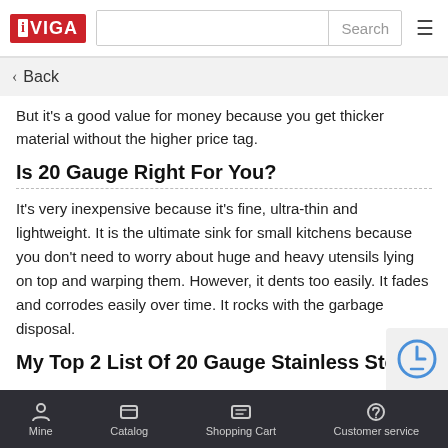iVIGA | Search
Back
But it's a good value for money because you get thicker material without the higher price tag.
Is 20 Gauge Right For You?
It's very inexpensive because it's fine, ultra-thin and lightweight. It is the ultimate sink for small kitchens because you don't need to worry about huge and heavy utensils lying on top and warping them. However, it dents too easily. It fades and corrodes easily over time. It rocks with the garbage disposal.
My Top 2 List Of 20 Gauge Stainless Steel
Mine | Catalog | Shopping Cart | Customer service